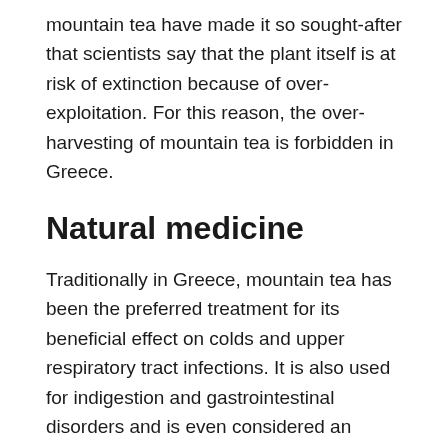mountain tea have made it so sought-after that scientists say that the plant itself is at risk of extinction because of over-exploitation. For this reason, the over-harvesting of mountain tea is forbidden in Greece.
Natural medicine
Traditionally in Greece, mountain tea has been the preferred treatment for its beneficial effect on colds and upper respiratory tract infections. It is also used for indigestion and gastrointestinal disorders and is even considered an anticonvulsant.
Like aspirin, it is an analgesic, and has an array of